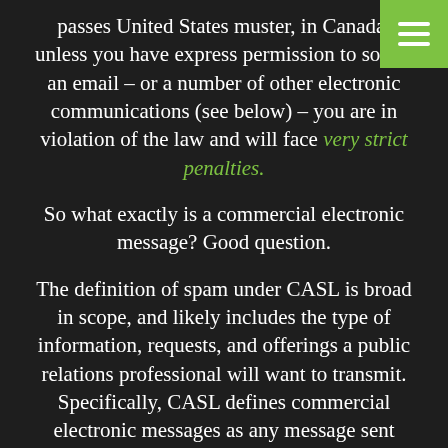passes United States muster, in Canada, unless you have express permission to solicit an email – or a number of other electronic communications (see below) – you are in violation of the law and will face very strict penalties.
So what exactly is a commercial electronic message? Good question.
The definition of spam under CASL is broad in scope, and likely includes the type of information, requests, and offerings a public relations professional will want to transmit. Specifically, CASL defines commercial electronic messages as any message sent electronically that encourages the recipient to participate in a commercial activity, including offers, advertisements or the promotion of a product, service, or person. Profit does not have to be a motivating factor. Mediums include e-mails, text messages, AIM, Gchat, Skype, and other instant